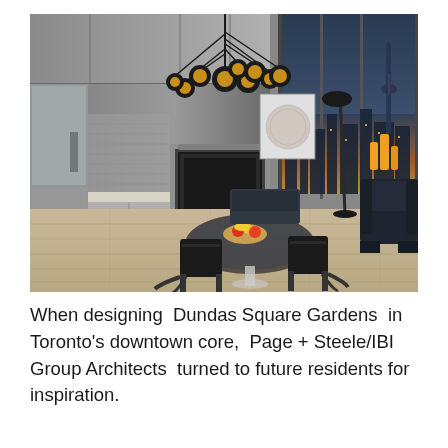[Figure (photo): Interior rendering of a modern condo apartment showing a kitchen with stainless steel appliances and a dining area with black chairs around a glass table, with a dramatic black multi-bulb pendant light fixture overhead and floor-to-ceiling windows showing a city skyline at dusk with the CN Tower visible.]
When designing  Dundas Square Gardens  in Toronto's downtown core,  Page + Steele/IBI Group Architects  turned to future residents for inspiration.